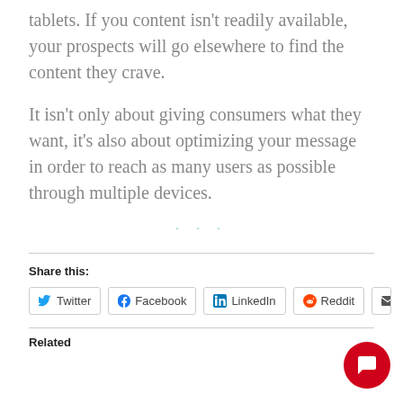tablets. If you content isn't readily available, your prospects will go elsewhere to find the content they crave.
It isn't only about giving consumers what they want, it's also about optimizing your message in order to reach as many users as possible through multiple devices.
· · ·
Share this:
Twitter  Facebook  LinkedIn  Reddit  E[mail]
Related